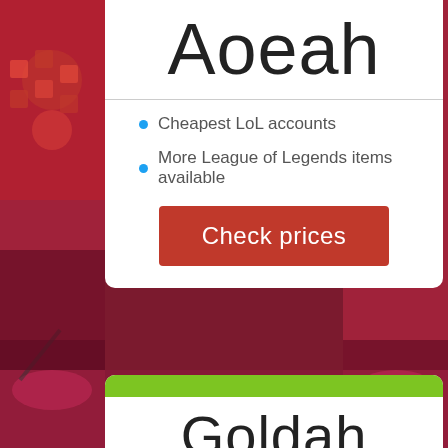[Figure (photo): Blurred background photo of a gaming/esports event venue with red and purple lighting and crowds]
Aoeah
Cheapest LoL accounts
More League of Legends items available
Check prices
Goldah